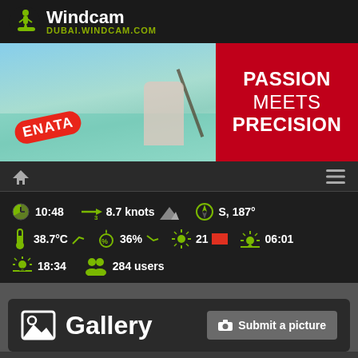Windcam — DUBAI.WINDCAM.COM
[Figure (photo): Windcam website screenshot showing logo, ENATA banner ad with 'PASSION MEETS PRECISION', navigation bar, weather data strip, and Gallery section]
10:48   8.7 knots   S, 187°
38.7°C   36%   21 [red flag]   06:01
18:34   284 users
Gallery
Submit a picture